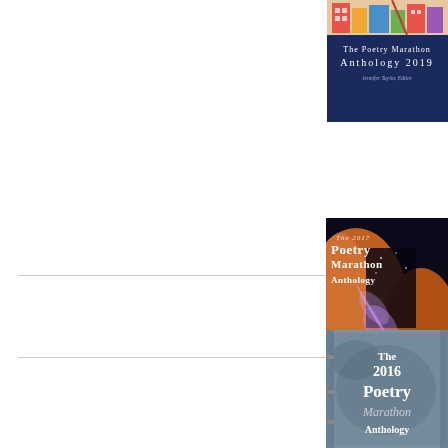[Figure (illustration): Book cover: The Poetry Marathon Anthology 2019, Jennifer Taylor Editor, colorful illustrated cover]
[Figure (illustration): Book cover: The 2017 Poetry Marathon Anthology, Pamela Calloway, dark cover with figure blowing light against orange rock formation]
[Figure (illustration): Book cover: The 2016 Poetry Marathon Anthology, aged paper texture with bold white serif text]